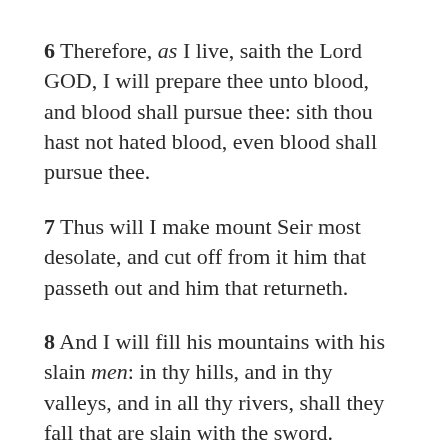6 Therefore, as I live, saith the Lord GOD, I will prepare thee unto blood, and blood shall pursue thee: sith thou hast not hated blood, even blood shall pursue thee.
7 Thus will I make mount Seir most desolate, and cut off from it him that passeth out and him that returneth.
8 And I will fill his mountains with his slain men: in thy hills, and in thy valleys, and in all thy rivers, shall they fall that are slain with the sword.
9 I will make thee perpetual desolations, and thy cities shall not return: and ye shall know that I am the LORD.